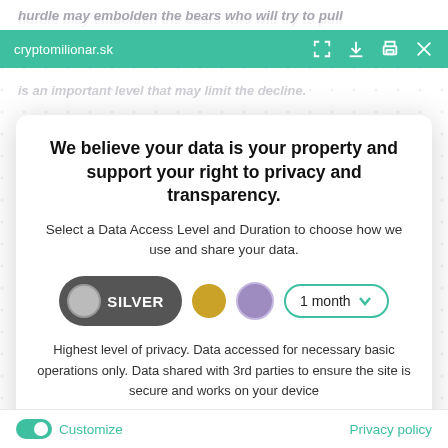cryptomilionar.sk
We believe your data is your property and support your right to privacy and transparency.
Select a Data Access Level and Duration to choose how we use and share your data.
SILVER | [gold circle] | [purple circle] | 1 month
Highest level of privacy. Data accessed for necessary basic operations only. Data shared with 3rd parties to ensure the site is secure and works on your device
Save my preferences
Customize
Privacy policy